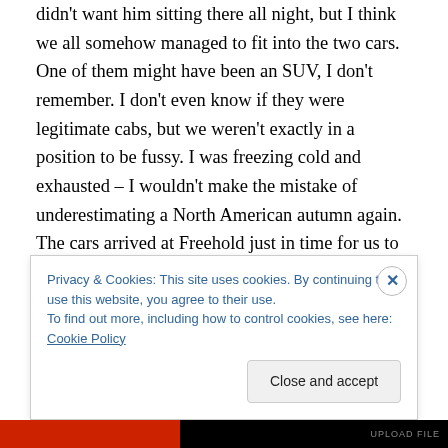didn't want him sitting there all night, but I think we all somehow managed to fit into the two cars. One of them might have been an SUV, I don't remember. I don't even know if they were legitimate cabs, but we weren't exactly in a position to be fussy. I was freezing cold and exhausted – I wouldn't make the mistake of underestimating a North American autumn again. The cars arrived at Freehold just in time for us to see the bus heading to New York to pull into the parking lot. We ran to the bus like our lives depended on it. It was pretty much empty, and it was taking the long route since it was
Privacy & Cookies: This site uses cookies. By continuing to use this website, you agree to their use.
To find out more, including how to control cookies, see here: Cookie Policy
Close and accept